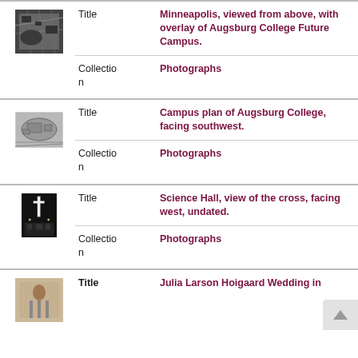[Figure (photo): Aerial photograph of Minneapolis with overlay of Augsburg College Future Campus]
Title
Minneapolis, viewed from above, with overlay of Augsburg College Future Campus.
Collection
Photographs
[Figure (photo): Campus plan of Augsburg College, facing southwest]
Title
Campus plan of Augsburg College, facing southwest.
Collection
Photographs
[Figure (photo): Science Hall view of the cross, facing west, undated]
Title
Science Hall, view of the cross, facing west, undated.
Collection
Photographs
[Figure (photo): Julia Larson Hoigaard Wedding photograph (partial)]
Title
Julia Larson Hoigaard Wedding in